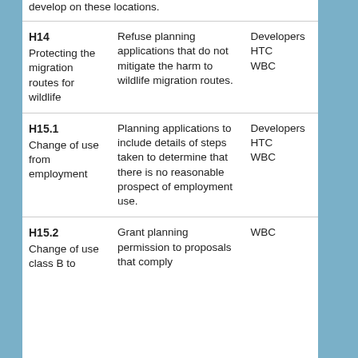develop on these locations.
| Policy | Action | Responsible |
| --- | --- | --- |
| H14
Protecting the migration routes for wildlife | Refuse planning applications that do not mitigate the harm to wildlife migration routes. | Developers
HTC
WBC |
| H15.1
Change of use from employment | Planning applications to include details of steps taken to determine that there is no reasonable prospect of employment use. | Developers
HTC
WBC |
| H15.2
Change of use class B to | Grant planning permission to proposals that comply | WBC |